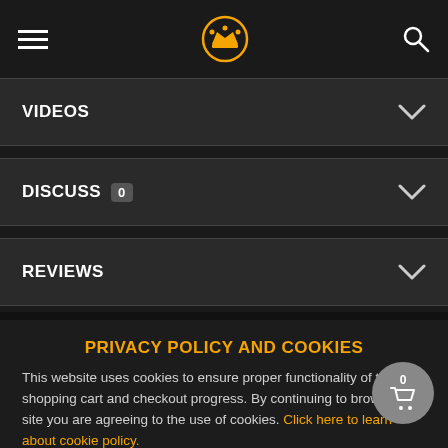[Figure (screenshot): Mobile website navigation bar with hamburger menu, crown logo in orange circle, and search icon]
VIDEOS
DISCUSS 0
REVIEWS
PRIVACY POLICY AND COOKIES
This website uses cookies to ensure proper functionality of the shopping cart and checkout progress. By continuing to browse the site you are agreeing to the use of cookies. Click here to learn about cookie policy.
ACCEPT AND CLOSE ✕